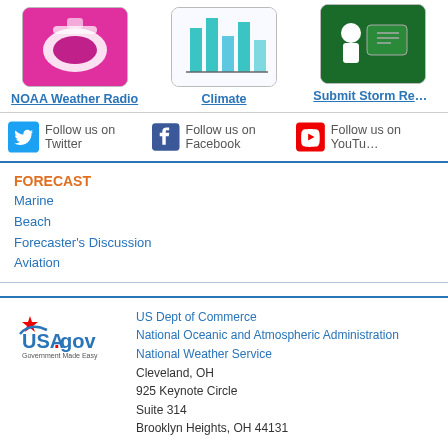[Figure (screenshot): Three icon boxes: NOAA Weather Radio (pink/magenta), Climate (bar chart teal), Submit Storm Report (green with figure)]
NOAA Weather Radio | Climate | Submit Storm Report
Follow us on Twitter | Follow us on Facebook | Follow us on YouTube
FORECAST
Marine
Beach
Forecaster's Discussion
Aviation
US Dept of Commerce
National Oceanic and Atmospheric Administration
National Weather Service
Cleveland, OH
925 Keynote Circle
Suite 314
Brooklyn Heights, OH 44131